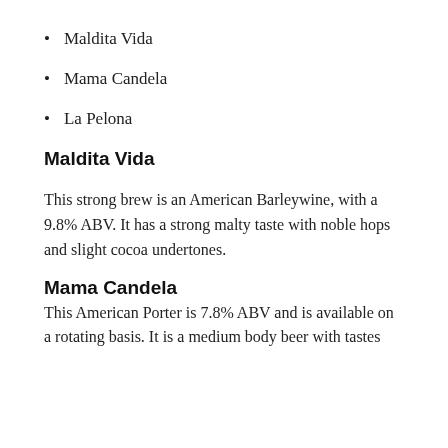Maldita Vida
Mama Candela
La Pelona
Maldita Vida
This strong brew is an American Barleywine, with a 9.8% ABV. It has a strong malty taste with noble hops and slight cocoa undertones.
Mama Candela
This American Porter is 7.8% ABV and is available on a rotating basis. It is a medium body beer with tastes